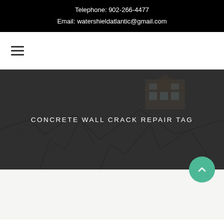Telephone: 902-266-4477
Email: watershieldatlantic@gmail.com
[Figure (other): Hamburger navigation menu icon (three horizontal lines)]
[Figure (photo): Hero banner image showing a cracked concrete ground with a house structure visible in the background, overlaid with a dark semi-transparent filter]
CONCRETE WALL CRACK REPAIR TAG